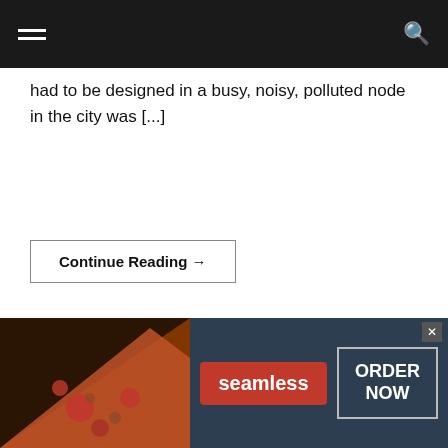[navigation bar with hamburger menu and search icon]
had to be designed in a busy, noisy, polluted node in the city was [...]
Continue Reading →
[Figure (photo): Dark interior photo showing hanging lights/decorations against a dark ceiling]
Privacy & Cookies: This site uses cookies. By continuing to use this
[Figure (infographic): Seamless food delivery advertisement banner with pizza image, seamless logo in red, and ORDER NOW button]